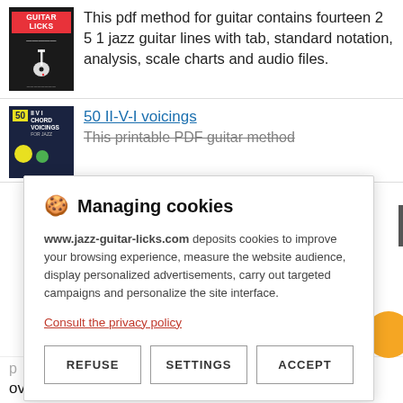[Figure (illustration): Book cover for Guitar Licks PDF method, black background with red label]
This pdf method for guitar contains fourteen 2 5 1 jazz guitar lines with tab, standard notation, analysis, scale charts and audio files.
[Figure (illustration): Book cover for 50 II-V-I Chord Voicings for Jazz, dark blue background with yellow number 50]
50 II-V-I voicings
This printable PDF guitar method
Managing cookies
www.jazz-guitar-licks.com deposits cookies to improve your browsing experience, measure the website audience, display personalized advertisements, carry out targeted campaigns and personalize the site interface.
Consult the privacy policy
REFUSE
SETTINGS
ACCEPT
over the minor 2 5 1 progression